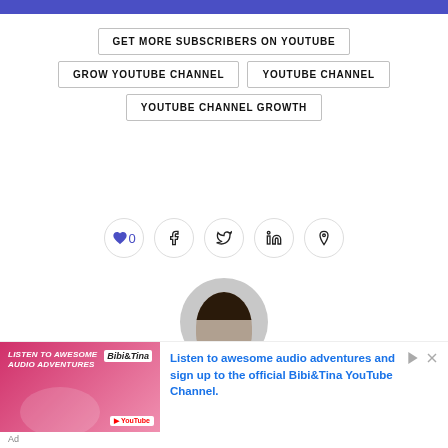GET MORE SUBSCRIBERS ON YOUTUBE
GROW YOUTUBE CHANNEL
YOUTUBE CHANNEL
YOUTUBE CHANNEL GROWTH
[Figure (other): Social sharing buttons: heart with count 0, Facebook, Twitter, LinkedIn, Pinterest]
[Figure (photo): Circular avatar photo of a person with dark hair]
[Figure (other): Advertisement banner for Bibi&Tina YouTube Channel audio adventures with cartoon illustration]
Ad